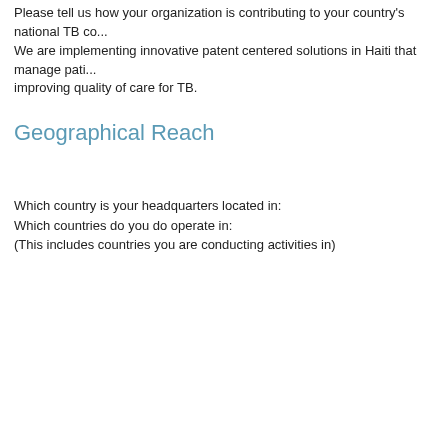Please tell us how your organization is contributing to your country's national TB co... We are implementing innovative patent centered solutions in Haiti that manage pati... improving quality of care for TB.
Geographical Reach
Which country is your headquarters located in:
Which countries do you do operate in:
(This includes countries you are conducting activities in)